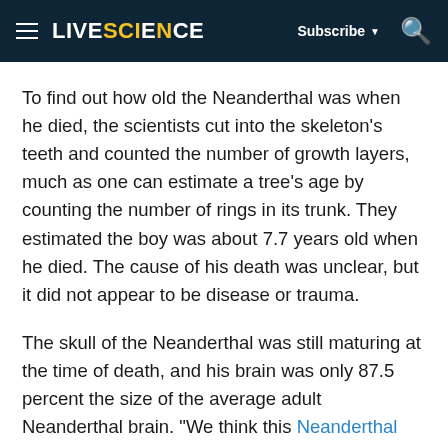LIVESCIENCE | Subscribe | Search
To find out how old the Neanderthal was when he died, the scientists cut into the skeleton's teeth and counted the number of growth layers, much as one can estimate a tree's age by counting the number of rings in its trunk. They estimated the boy was about 7.7 years old when he died. The cause of his death was unclear, but it did not appear to be disease or trauma.
The skull of the Neanderthal was still maturing at the time of death, and his brain was only 87.5 percent the size of the average adult Neanderthal brain. "We think this Neanderthal boy's brain was still growing in volume," Rosas told Live Science. In contrast, "at